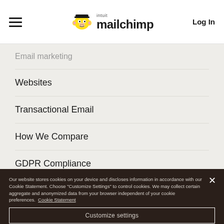Mailchimp — Log In
Email marketing
Websites
Transactional Email
How We Compare
GDPR Compliance
Security
Status
Our website stores cookies on your device and discloses information in accordance with our Cookie Statement. Choose "Customize Settings" to control cookies. We may collect certain aggregate and anonymized data from your browser independent of your cookie preferences. Cookie Statement
Customize settings